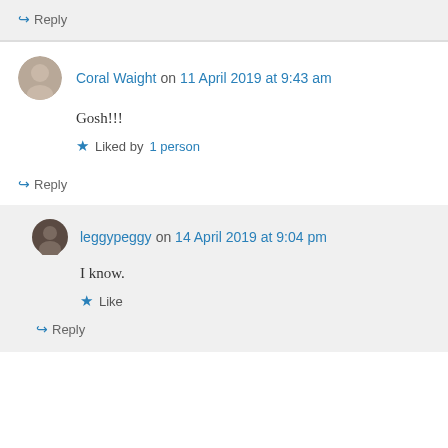↪ Reply
Coral Waight on 11 April 2019 at 9:43 am
Gosh!!!
★ Liked by 1 person
↪ Reply
leggypeggy on 14 April 2019 at 9:04 pm
I know.
★ Like
↪ Reply